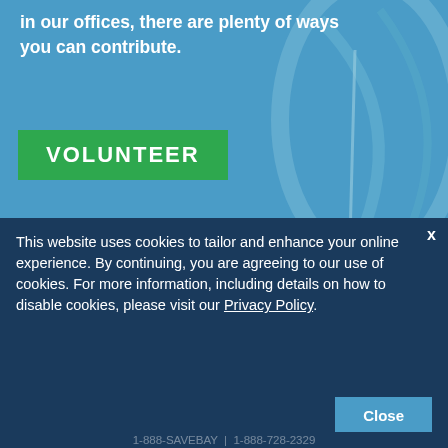in our offices, there are plenty of ways you can contribute.
[Figure (other): Blue background with decorative curved shapes (archery/bow imagery), hero section background]
VOLUNTEER
Contact Us
Jobs & Internships
Shop
This website uses cookies to tailor and enhance your online experience. By continuing, you are agreeing to our use of cookies. For more information, including details on how to disable cookies, please visit our Privacy Policy.
1-888-SAVEBAY | 1-888-728-2329